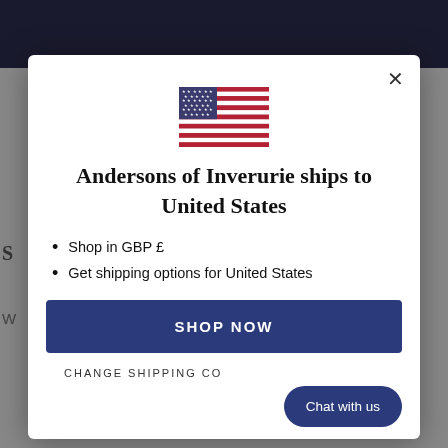[Figure (illustration): US flag SVG illustration shown at center top of modal]
Andersons of Inverurie ships to United States
Shop in GBP £
Get shipping options for United States
SHOP NOW
CHANGE SHIPPING CO...
Chat with us